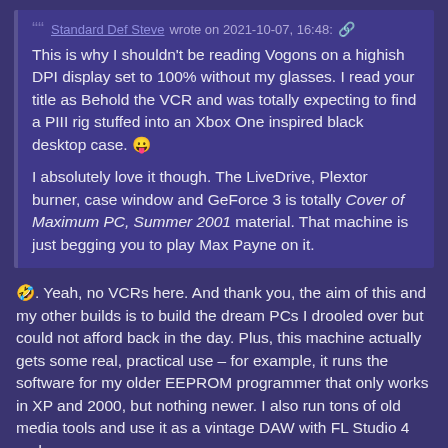Standard Def Steve wrote on 2021-10-07, 16:48: [link] This is why I shouldn't be reading Vogons on a highish DPI display set to 100% without my glasses. I read your title as Behold the VCR and was totally expecting to find a PIII rig stuffed into an Xbox One inspired black desktop case. 😛

I absolutely love it though. The LiveDrive, Plextor burner, case window and GeForce 3 is totally Cover of Maximum PC, Summer 2001 material. That machine is just begging you to play Max Payne on it.
🤣. Yeah, no VCRs here. And thank you, the aim of this and my other builds is to build the dream PCs I drooled over but could not afford back in the day. Plus, this machine actually gets some real, practical use – for example, it runs the software for my older EEPROM programmer that only works in XP and 2000, but nothing newer. I also run tons of old media tools and use it as a vintage DAW with FL Studio 4 and